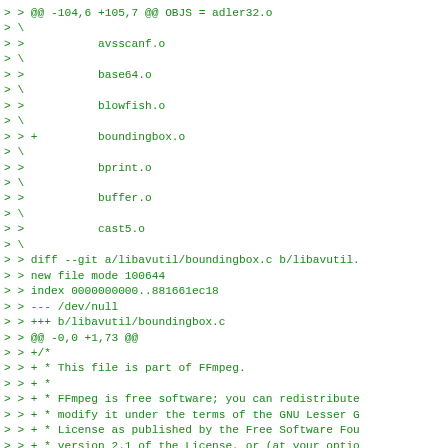> > @@ -104,6 +105,7 @@ OBJS = adler32.o
> \
> >           avsscanf.o
> \
> >           base64.o
> \
> >           blowfish.o
> \
> > +         boundingbox.o
> \
> >           bprint.o
> \
> >           buffer.o
> \
> >           cast5.o
> \
> > diff --git a/libavutil/boundingbox.c b/libavutil...
> > new file mode 100644
> > index 0000000000..881661ec18
> > --- /dev/null
> > +++ b/libavutil/boundingbox.c
> > @@ -0,0 +1,73 @@
> > +/*
> > + * This file is part of FFmpeg.
> > + *
> > + * FFmpeg is free software; you can redistribute...
> > + * modify it under the terms of the GNU Lesser G...
> > + * License as published by the Free Software Fou...
> > + * version 2.1 of the License, or (at your optio...
> > + *
> > + * FFmpeg is distributed in the hope that it wi...
> > + * WITHOUT ANY WARRANTY; without even the impli...